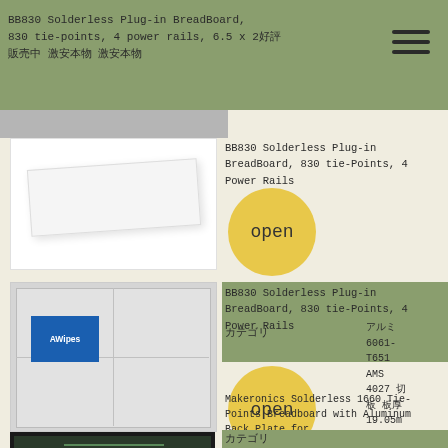BB830 Solderless Plug-in BreadBoard, 830 tie-points, 4 power rails, 6.5 x 2好評販売中 激安本物 激安本物
[Figure (photo): White breadboard product on white background]
BB830 Solderless Plug-in BreadBoard, 830 tie-Points, 4 Power Rails
[Figure (illustration): Yellow open circle button overlay]
[Figure (photo): AWipes cleaning wipes package in grey/white bag with blue logo]
BB830 Solderless Plug-in BreadBoard, 830 tie-Points, 4 Power Rails
カテゴリ
アルミ 6061-T651 AMS 4027 切板 板厚 19.05mm 短手 300mm×800m
[Figure (illustration): Yellow open circle button overlay]
Makeronics Solderless 1660 Tie-Points Breadboard with Aluminum Back Plate for Circuit/Arduino/Raspberry Pi Prototyping Powered by Makeronics
カテゴリ
[Figure (photo): Black circuit board / Arduino breadboard with red components]